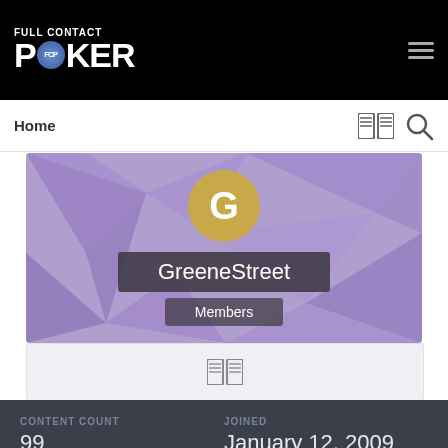FULL CONTACT POKER
Home
[Figure (illustration): User profile banner with purple polygonal background, gold avatar circle with letter G, username GreeneStreet, and Members role badge]
GreeneStreet
Members
CONTENT COUNT
99
JOINED
January 12, 2009
LAST VISITED
January 13, 2012